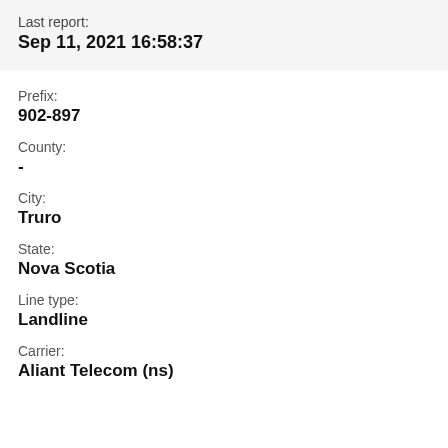Last report:
Sep 11, 2021 16:58:37
Prefix:
902-897
County:
-
City:
Truro
State:
Nova Scotia
Line type:
Landline
Carrier:
Aliant Telecom (ns)